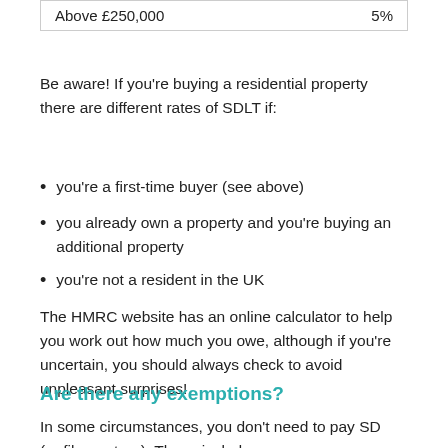| Above £250,000 | 5% |
Be aware! If you're buying a residential property there are different rates of SDLT if:
you're a first-time buyer (see above)
you already own a property and you're buying an additional property
you're not a resident in the UK
The HMRC website has an online calculator to help you work out how much you owe, although if you're uncertain, you should always check to avoid unpleasant surprises!
Are there any exemptions?
In some circumstances, you don't need to pay SD (or file a return). These include: